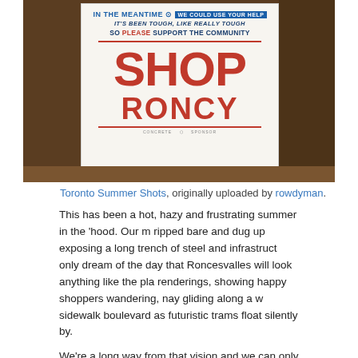[Figure (photo): Photo of a sign reading 'SHOP RONCY' with text 'IN THE MEANTIME WE COULD USE YOUR HELP / IT'S BEEN TOUGH, LIKE REALLY TOUGH / SO PLEASE SUPPORT THE COMMUNITY' in a store window setting]
Toronto Summer Shots, originally uploaded by rowdyman.
This has been a hot, hazy and frustrating summer in the 'hood. Our m ripped bare and dug up exposing a long trench of steel and infrastruct only dream of the day that Roncesvalles will look anything like the pla renderings, showing happy shoppers wandering, nay gliding along a w sidewalk boulevard as futuristic trams float silently by.
We're a long way from that vision and we can only hope the business-